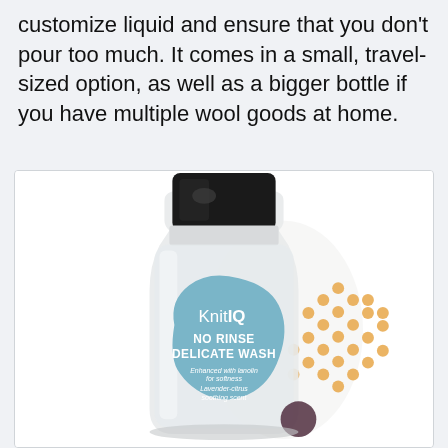customize liquid and ensure that you don't pour too much. It comes in a small, travel-sized option, as well as a bigger bottle if you have multiple wool goods at home.
[Figure (photo): A clear plastic bottle of KnitIQ No Rinse Delicate Wash with a black cap. The bottle has a blue blob-shaped label reading 'KnitIQ NO RINSE DELICATE WASH Enhanced with lanolin for softness Lavender-citrus soothing scent'. The background of the label has orange dotted pattern and abstract shapes.]